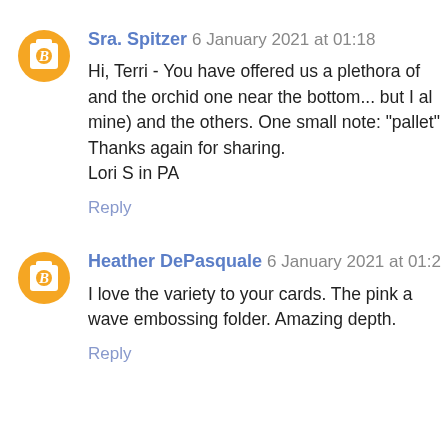Sra. Spitzer 6 January 2021 at 01:18
Hi, Terri - You have offered us a plethora of and the orchid one near the bottom... but I al mine) and the others. One small note: "pallet" Thanks again for sharing.
Lori S in PA
Reply
Heather DePasquale 6 January 2021 at 01:2
I love the variety to your cards. The pink a wave embossing folder. Amazing depth.
Reply